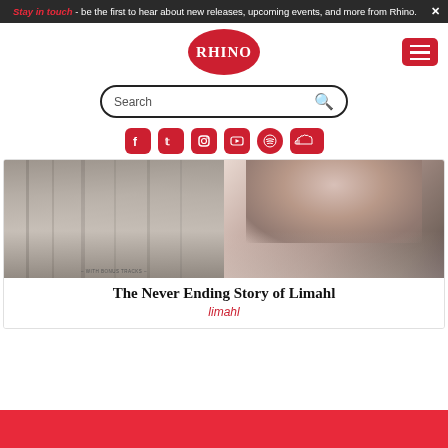Stay in touch - be the first to hear about new releases, upcoming events, and more from Rhino.
[Figure (logo): Rhino Records red oval logo with white RHINO text]
[Figure (screenshot): Search bar with magnifying glass icon]
[Figure (infographic): Social media icons: Facebook, Twitter, Instagram, YouTube, Spotify, SoundCloud - all in red]
[Figure (photo): Two-panel album artwork: left panel shows a textured grey surface with bonus tracks text, right panel shows a close-up of Limahl's face]
The Never Ending Story of Limahl
limahl